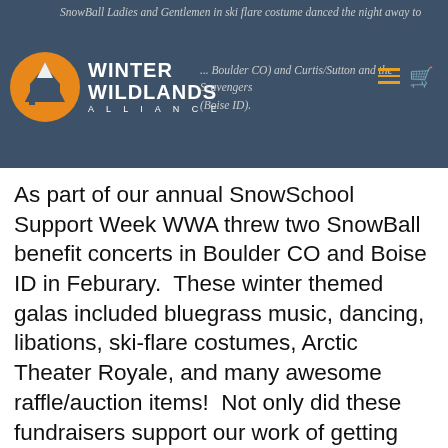SnowBall Ladies and Gentlemen in ski flare costume danced the night away to ... (Boulder CO) and Curtis/Sutton and the Scavengers (Boise ID).
As part of our annual SnowSchool Support Week WWA threw two SnowBall benefit concerts in Boulder CO and Boise ID in Feburary.  These winter themed galas included bluegrass music, dancing, libations, ski-flare costumes, Arctic Theater Royale, and many awesome raffle/auction items!  Not only did these fundraisers support our work of getting thousands of underserved kids across the country outside on public lands in the winter, but they also served as a gathering place for hundreds of supporters to hear testimonials from SnowSchool participants and volunteers.  At time when the future of public